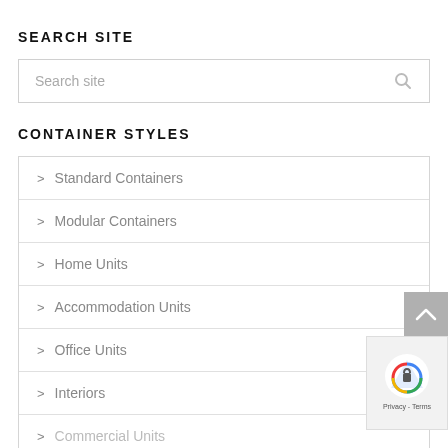SEARCH SITE
Search site
CONTAINER STYLES
> Standard Containers
> Modular Containers
> Home Units
> Accommodation Units
> Office Units
> Interiors
> Commercial Units